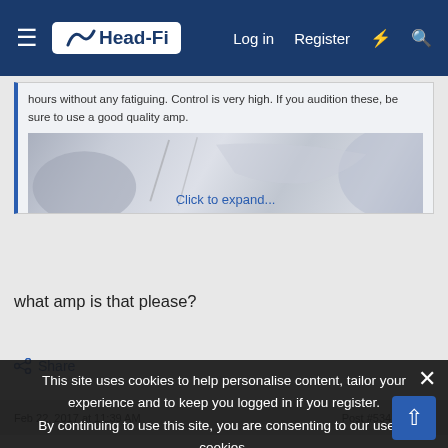Head-Fi | Log in | Register
hours without any fatiguing. Control is very high. If you audition these, be sure to use a good quality amp.
[Figure (photo): Partially visible photo of audio equipment, with 'Click to expand...' link overlay]
what amp is that please?
Share
Feb 22, 2017 at 11:39 AM
Post #534 of 2,249
CBonUK
siberianmoon said:
This site uses cookies to help personalise content, tailor your experience and to keep you logged in if you register. By continuing to use this site, you are consenting to our use of cookies.